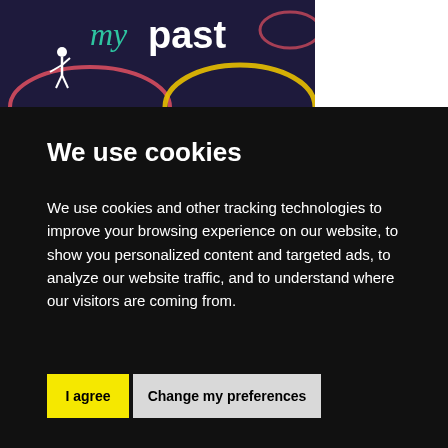[Figure (screenshot): Top portion of a website with dark navy background showing partial logo text 'past' in white bold and 'my' in teal cursive, with decorative circular brush strokes in red/pink, yellow, and other colors. Right portion has white background.]
We use cookies
We use cookies and other tracking technologies to improve your browsing experience on our website, to show you personalized content and targeted ads, to analyze our website traffic, and to understand where our visitors are coming from.
I agree
Change my preferences